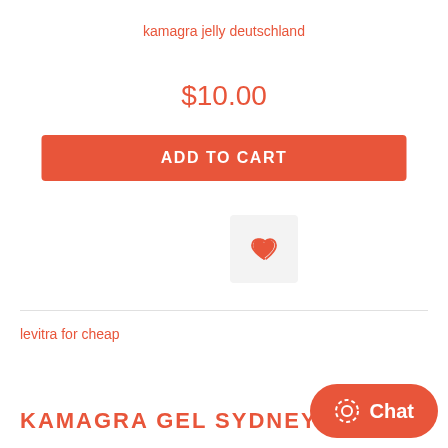kamagra jelly deutschland
$10.00
ADD TO CART
[Figure (other): Wishlist heart icon button]
levitra for cheap
KAMAGRA GEL SYDNEY
Chat